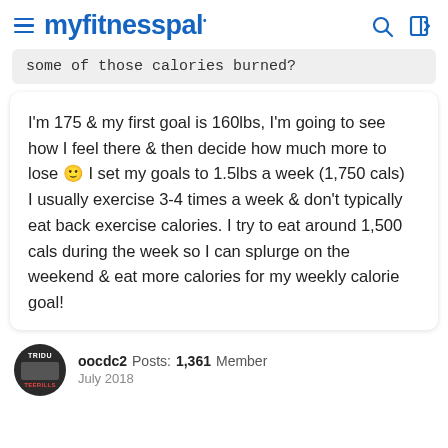myfitnesspal
some of those calories burned?
I'm 175 & my first goal is 160lbs, I'm going to see how I feel there & then decide how much more to lose 🙂 I set my goals to 1.5lbs a week (1,750 cals)
I usually exercise 3-4 times a week & don't typically eat back exercise calories. I try to eat around 1,500 cals during the week so I can splurge on the weekend & eat more calories for my weekly calorie goal!
oocdc2  Posts: 1,361  Member
July 2018